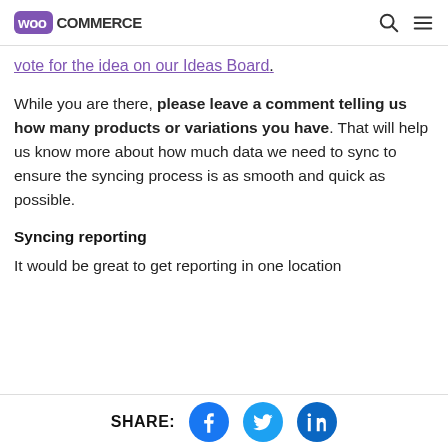WooCommerce [logo] [search icon] [menu icon]
vote for the idea on our Ideas Board.
While you are there, please leave a comment telling us how many products or variations you have. That will help us know more about how much data we need to sync to ensure the syncing process is as smooth and quick as possible.
Syncing reporting
It would be great to get reporting in one location
SHARE: [Facebook] [Twitter] [LinkedIn]